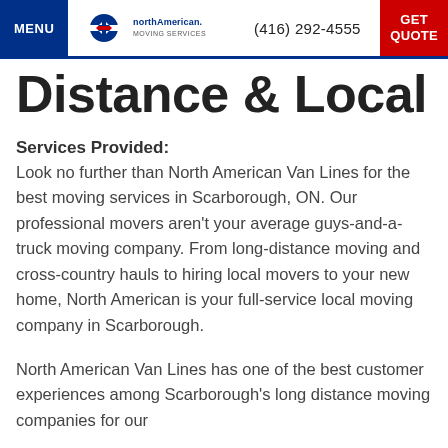MENU | northAmerican MOVING SERVICES | (416) 292-4555 | GET QUOTE
Distance & Local
Services Provided:
Look no further than North American Van Lines for the best moving services in Scarborough, ON. Our professional movers aren't your average guys-and-a-truck moving company. From long-distance moving and cross-country hauls to hiring local movers to your new home, North American is your full-service local moving company in Scarborough.
North American Van Lines has one of the best customer experiences among Scarborough's long distance moving companies for our